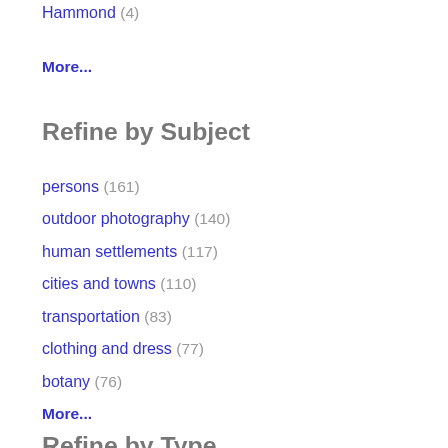Hammond (4)
More...
Refine by Subject
persons (161)
outdoor photography (140)
human settlements (117)
cities and towns (110)
transportation (83)
clothing and dress (77)
botany (76)
More...
Refine by Type